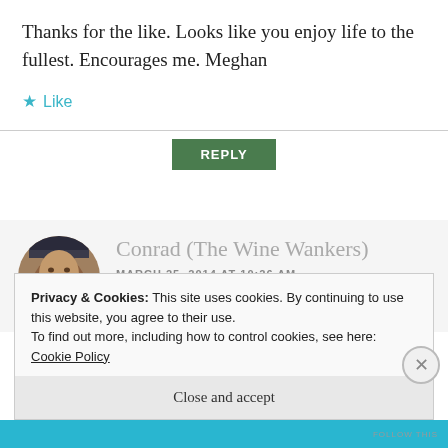Thanks for the like. Looks like you enjoy life to the fullest. Encourages me. Meghan
★ Like
REPLY
Conrad (The Wine Wankers)
MARCH 25, 2014 AT 10:26 AM
[Figure (photo): Circular avatar photo of a man with a large mustache wearing a decorative military-style uniform with earrings]
Privacy & Cookies: This site uses cookies. By continuing to use this website, you agree to their use.
To find out more, including how to control cookies, see here: Cookie Policy
Close and accept